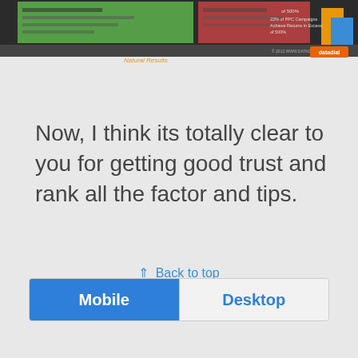[Figure (infographic): Bottom portion of an infographic about PPC campaigns and natural results, with a datadial logo/watermark at the bottom, showing colored bar chart elements and text about 500% returns]
Now, I think its totally clear to you for getting good trust and rank all the factor and tips.
⇑ Back to top
Mobile  Desktop